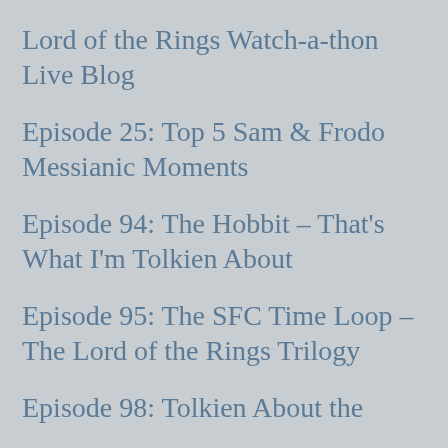Lord of the Rings Watch-a-thon Live Blog
Episode 25: Top 5 Sam & Frodo Messianic Moments
Episode 94: The Hobbit – That's What I'm Tolkien About
Episode 95: The SFC Time Loop – The Lord of the Rings Trilogy
Episode 98: Tolkien About the